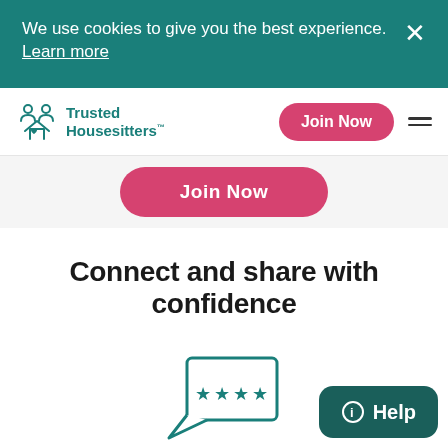We use cookies to give you the best experience.  Learn more
Trusted Housesitters™
Join Now
Connect and share with confidence
[Figure (illustration): Speech bubble icon with four teal stars inside, representing reviews]
References and review